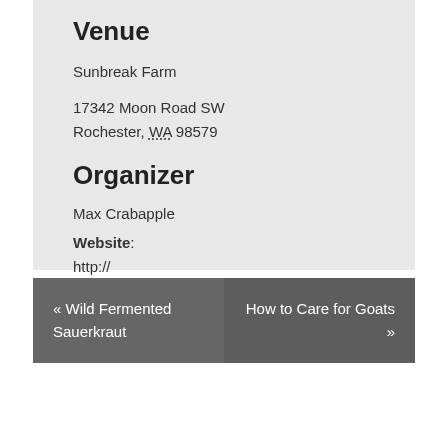Venue
Sunbreak Farm
17342 Moon Road SW
Rochester, WA 98579
Organizer
Max Crabapple
Website: http://
« Wild Fermented Sauerkraut
How to Care for Goats »